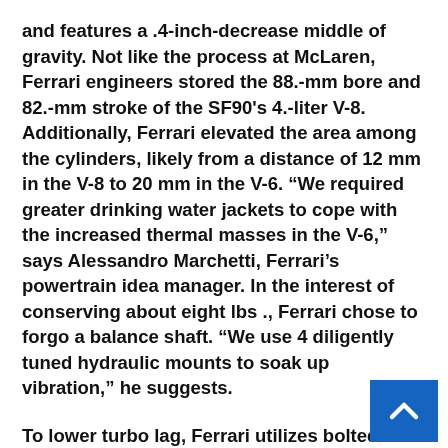and features a .4-inch-decrease middle of gravity. Not like the process at McLaren, Ferrari engineers stored the 88.-mm bore and 82.-mm stroke of the SF90's 4.-liter V-8. Additionally, Ferrari elevated the area among the cylinders, likely from a distance of 12 mm in the V-8 to 20 mm in the V-6. “We required greater drinking water jackets to cope with the increased thermal masses in the V-6,” says Alessandro Marchetti, Ferrari’s powertrain idea manager. In the interest of conserving about eight lbs ., Ferrari chose to forgo a balance shaft. “We use 4 diligently tuned hydraulic mounts to soak up vibration,” he suggests.
To lower turbo lag, Ferrari utilizes bolted-o… small plastic castings that mix with cavities in